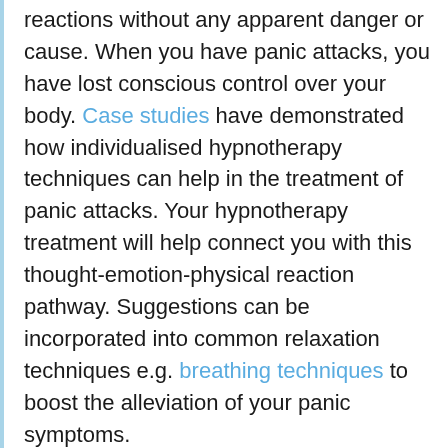reactions without any apparent danger or cause. When you have panic attacks, you have lost conscious control over your body. Case studies have demonstrated how individualised hypnotherapy techniques can help in the treatment of panic attacks. Your hypnotherapy treatment will help connect you with this thought-emotion-physical reaction pathway. Suggestions can be incorporated into common relaxation techniques e.g. breathing techniques to boost the alleviation of your panic symptoms.
Hypnotherapy can treat your anticipatory anxiety
Your past experiences will heighten your alertness to future threats. You are likely to build up anticipatory anxiety to